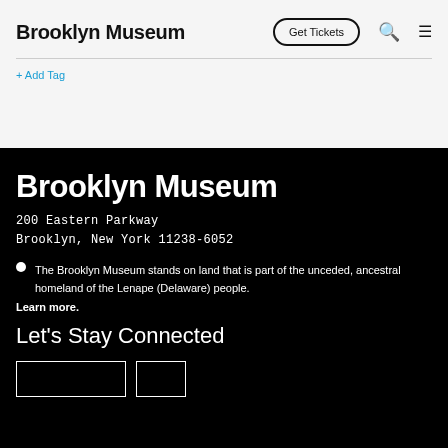Brooklyn Museum  Get Tickets
+ Add Tag
Brooklyn Museum
200 Eastern Parkway
Brooklyn, New York 11238-6052
● The Brooklyn Museum stands on land that is part of the unceded, ancestral homeland of the Lenape (Delaware) people. Learn more.
Let's Stay Connected